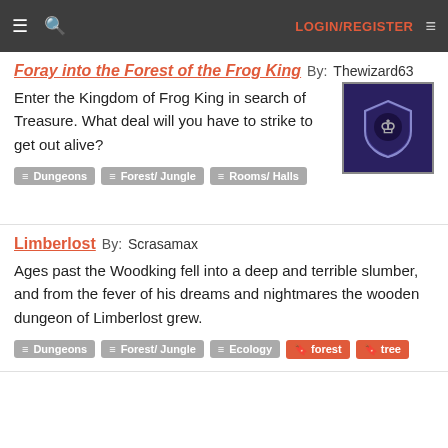LOGIN/REGISTER
Foray into the Forest of the Frog King By: Thewizard63
Enter the Kingdom of Frog King in search of Treasure. What deal will you have to strike to get out alive?
Dungeons
Forest/ Jungle
Rooms/ Halls
[Figure (illustration): Shield emblem with a wolf or lion head, purple/blue background]
Limberlost By: Scrasamax
Ages past the Woodking fell into a deep and terrible slumber, and from the fever of his dreams and nightmares the wooden dungeon of Limberlost grew.
Dungeons
Forest/ Jungle
Ecology
forest
tree